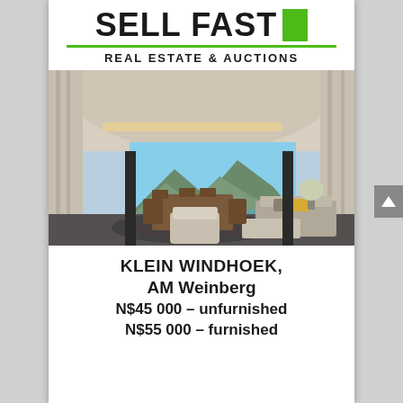SELL FAST REAL ESTATE & AUCTIONS
[Figure (photo): Interior photo of a luxury open-plan living room with mountain views through large glass doors, featuring seating area, dining table, and white curtains.]
KLEIN WINDHOEK, AM Weinberg N$45 000 – unfurnished N$55 000 – furnished